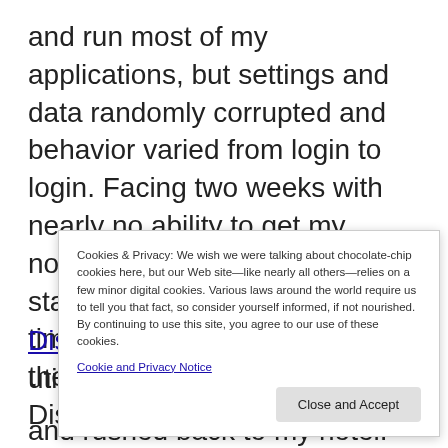and run most of my applications, but settings and data randomly corrupted and behavior varied from login to login. Facing two weeks with nearly no ability to get my normal work done, I was starting to get desperate. It was time to call in a warrior to fight the demons – the mighty DiskWarrior.
DiskWarrior is a popular Mac utility known for
Cookies & Privacy: We wish we were talking about chocolate-chip cookies here, but our Web site—like nearly all others—relies on a few minor digital cookies. Various laws around the world require us to tell you that fact, so consider yourself informed, if not nourished. By continuing to use this site, you agree to our use of these cookies. Cookie and Privacy Notice
and rushed back to my hotel. (And yes, I did